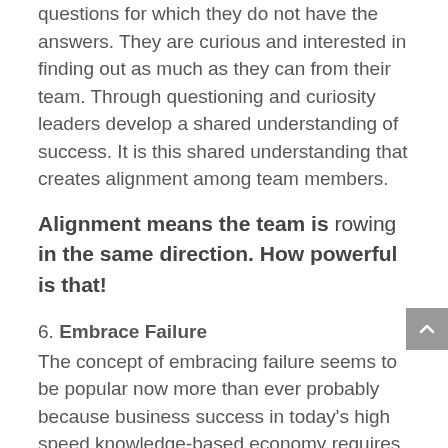questions for which they do not have the answers. They are curious and interested in finding out as much as they can from their team. Through questioning and curiosity leaders develop a shared understanding of success. It is this shared understanding that creates alignment among team members.
Alignment means the team is rowing in the same direction. How powerful is that!
6. Embrace Failure
The concept of embracing failure seems to be popular now more than ever probably because business success in today's high speed knowledge-based economy requires a higher level of risk than ever before. I do believe that no matter how well prepared we are, or how